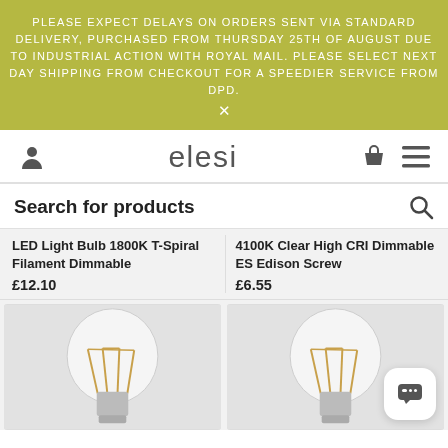PLEASE EXPECT DELAYS ON ORDERS SENT VIA STANDARD DELIVERY, PURCHASED FROM THURSDAY 25TH OF AUGUST DUE TO INDUSTRIAL ACTION WITH ROYAL MAIL. PLEASE SELECT NEXT DAY SHIPPING FROM CHECKOUT FOR A SPEEDIER SERVICE FROM DPD. ×
[Figure (logo): Elesi brand logo with user, basket and menu icons in navigation bar]
Search for products
LED Light Bulb 1800K T-Spiral Filament Dimmable
£12.10
4100K Clear High CRI Dimmable ES Edison Screw
£6.55
[Figure (photo): LED filament light bulb on grey background, left product]
[Figure (photo): LED filament light bulb on grey background, right product]